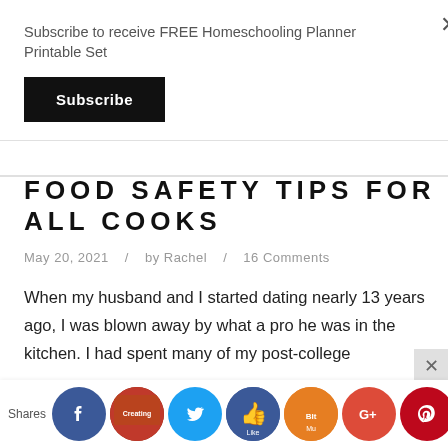Subscribe to receive FREE Homeschooling Planner Printable Set
Subscribe
FOOD SAFETY TIPS FOR ALL COOKS
May 20, 2021  /  by Rachel  /  16 Comments
When my husband and I started dating nearly 13 years ago, I was blown away by what a pro he was in the kitchen. I had spent many of my post-college
Shares